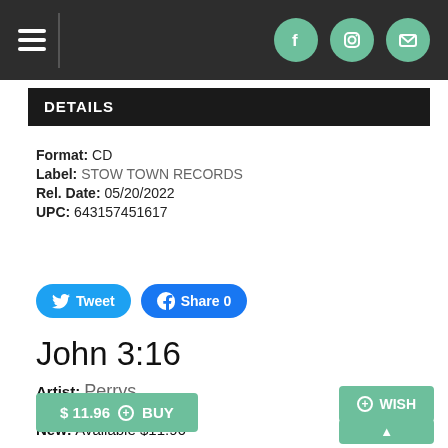Navigation bar with hamburger menu and social icons (Facebook, Instagram, Email)
DETAILS
Format: CD
Label: STOW TOWN RECORDS
Rel. Date: 05/20/2022
UPC: 643157451617
[Figure (other): Tweet and Facebook Share 0 social sharing buttons]
John 3:16
Artist: Perrys
Format: CD
New: Available $11.96
$ 11.96  BUY
WISH